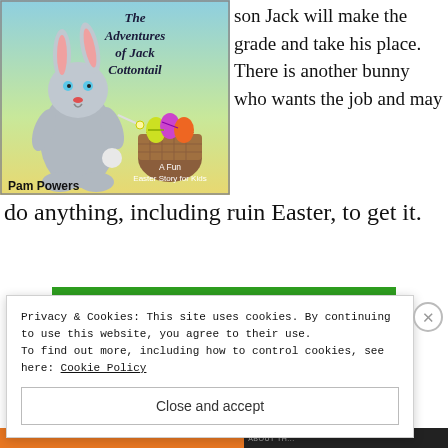[Figure (illustration): Book cover for 'The Adventures of Jack Cottontail' by Pam Powers — A Fun Easter Story for Kids. Shows a cartoon gray bunny holding a wand next to an Easter basket with colorful eggs.]
son Jack will make the grade and take his place. There is another bunny who wants the job and may do anything, including ruin Easter, to get it.
[Figure (infographic): Green banner advertisement with white bold italic text: 'You run your business.']
Privacy & Cookies: This site uses cookies. By continuing to use this website, you agree to their use.
To find out more, including how to control cookies, see here: Cookie Policy
Close and accept